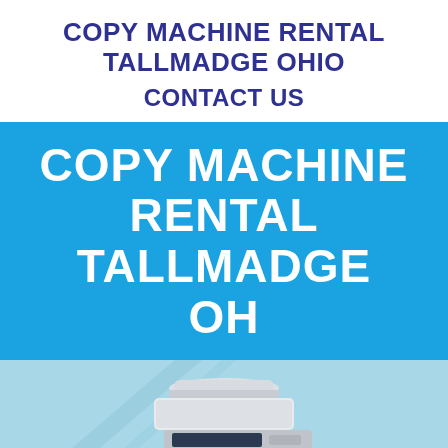COPY MACHINE RENTAL TALLMADGE OHIO
CONTACT US
[Figure (infographic): Blue banner with white bold text reading: COPY MACHINE RENTAL TALLMADGE OH]
[Figure (photo): Light blue background with diagonal lines and a white/grey multifunction office copier (Brother brand) centered at the bottom of the image]